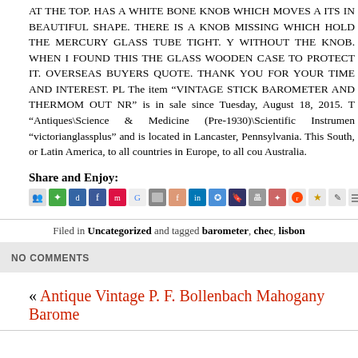AT THE TOP. HAS A WHITE BONE KNOB WHICH MOVES A ITS IN BEAUTIFUL SHAPE. THERE IS A KNOB MISSING WHICH HOLD THE MERCURY GLASS TUBE TIGHT. Y WITHOUT THE KNOB. WHEN I FOUND THIS THE GLASS WOODEN CASE TO PROTECT IT. OVERSEAS BUYERS QUOTE. THANK YOU FOR YOUR TIME AND INTEREST. PL The item “VINTAGE STICK BAROMETER AND THERMOM OUT NR” is in sale since Tuesday, August 18, 2015. T “Antiques\Science & Medicine (Pre-1930)\Scientific Instrumen “victorianglassplus” and is located in Lancaster, Pennsylvania. This South, or Latin America, to all countries in Europe, to all cou Australia.
Share and Enjoy:
[Figure (infographic): Row of social sharing icons including various social media and bookmarking site logos]
Filed in Uncategorized and tagged barometer, chec, lisbon
NO COMMENTS
« Antique Vintage P. F. Bollenbach Mahogany Barome